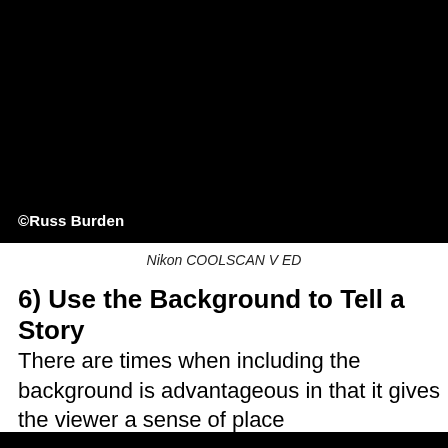[Figure (photo): A macro close-up photograph of a green plant stem against a black background. White text in the lower left reads '©Russ Burden'.]
Nikon COOLSCAN V ED
6) Use the Background to Tell a Story
There are times when including the background is advantageous in that it gives the viewer a sense of place
[Figure (screenshot): A black video player area with a white play button triangle in the center.]